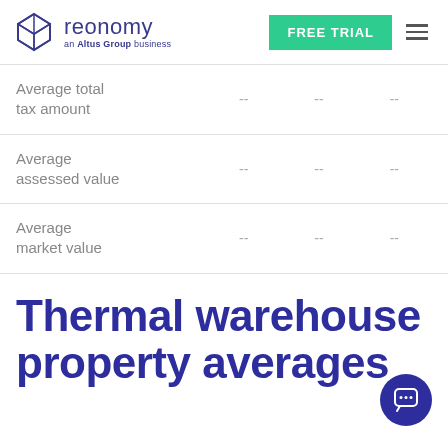reonomy — an Altus Group business | FREE TRIAL
|  |  |  |  |
| --- | --- | --- | --- |
| Average total tax amount | -- | -- | -- |
| Average assessed value | -- | -- | -- |
| Average market value | -- | -- | -- |
Thermal warehouse property averages